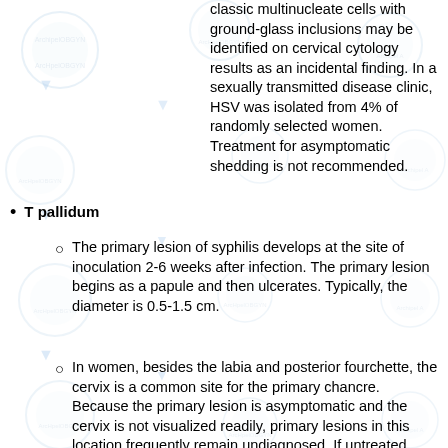classic multinucleate cells with ground-glass inclusions may be identified on cervical cytology results as an incidental finding. In a sexually transmitted disease clinic, HSV was isolated from 4% of randomly selected women. Treatment for asymptomatic shedding is not recommended.
T pallidum
The primary lesion of syphilis develops at the site of inoculation 2-6 weeks after infection. The primary lesion begins as a papule and then ulcerates. Typically, the diameter is 0.5-1.5 cm.
In women, besides the labia and posterior fourchette, the cervix is a common site for the primary chancre. Because the primary lesion is asymptomatic and the cervix is not visualized readily, primary lesions in this location frequently remain undiagnosed. If untreated, they heal in 3-6 weeks.